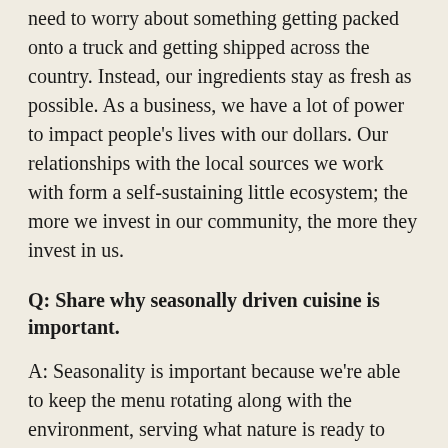need to worry about something getting packed onto a truck and getting shipped across the country. Instead, our ingredients stay as fresh as possible. As a business, we have a lot of power to impact people's lives with our dollars. Our relationships with the local sources we work with form a self-sustaining little ecosystem; the more we invest in our community, the more they invest in us.
Q: Share why seasonally driven cuisine is important.
A: Seasonality is important because we're able to keep the menu rotating along with the environment, serving what nature is ready to produce. It also allows us to maintain convenient relationships with our farmers. It doesn't feel natural to use something when it's not at its best. By using products that are consistently at their best, we can maintain a level of quality that other